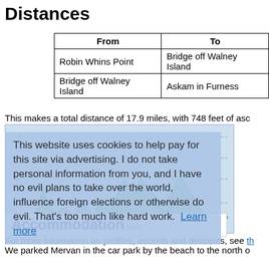Distances
| From | To |
| --- | --- |
| Robin Whins Point | Bridge off Walney Island |
| Bridge off Walney Island | Askam in Furness |
This makes a total distance of 17.9 miles, with 748 feet of asc
[Figure (area-chart): Elevation profile chart showing ascent/descent across the route, with green filled area and dashed gridlines at 0, 20, 40, 60, ft marks.]
This website uses cookies to help pay for this site via advertising. I do not take personal information from you, and I have no evil plans to take over the world, influence foreign elections or otherwise do evil. That's too much like hard work. Learn more
For more information on profiles, ascents and descents, see th
Accommodation
We parked Mervan in the car park by the beach to the north o were some fairly dingy toilets in the car park, and a pub a shor